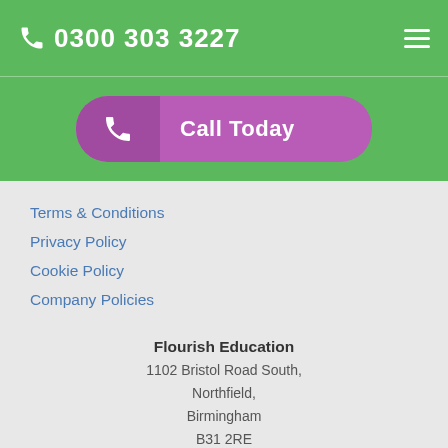0300 303 3227
[Figure (other): Call Today button with phone icon on purple/magenta background]
Terms & Conditions
Privacy Policy
Cookie Policy
Company Policies
Flourish Education
1102 Bristol Road South,
Northfield,
Birmingham
B31 2RE
Call: 0300 303 3227
[Figure (logo): Cyber Essentials badge logo and APSCo logo]